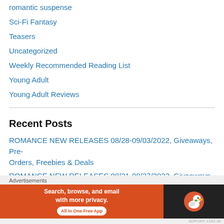romantic suspense
Sci-Fi Fantasy
Teasers
Uncategorized
Weekly Recommended Reading List
Young Adult
Young Adult Reviews
Recent Posts
ROMANCE NEW RELEASES 08/28-09/03/2022, Giveaways, Pre-Orders, Freebies & Deals
ROMANCE NEW RELEASES 08/21-08/27/2022, Giveaways, Pre-Orders, Freebies & Deals
Review: RUTHLESS by Gena Showalter
ROMANCE NEW RELEASES 09/07-09/10/2022, Gi... P...
Advertisements
[Figure (screenshot): DuckDuckGo advertisement banner: orange left section with text 'Search, browse, and email with more privacy. All in One Free App', dark right section with DuckDuckGo logo duck icon]